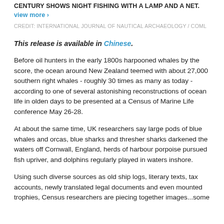CENTURY SHOWS NIGHT FISHING WITH A LAMP AND A NET. view more >
CREDIT: INTERNATIONAL JOURNAL OF NAUTICAL ARCHAEOLOGY / COML
This release is available in Chinese.
Before oil hunters in the early 1800s harpooned whales by the score, the ocean around New Zealand teemed with about 27,000 southern right whales - roughly 30 times as many as today - according to one of several astonishing reconstructions of ocean life in olden days to be presented at a Census of Marine Life conference May 26-28.
At about the same time, UK researchers say large pods of blue whales and orcas, blue sharks and thresher sharks darkened the waters off Cornwall, England, herds of harbour porpoise pursued fish upriver, and dolphins regularly played in waters inshore.
Using such diverse sources as old ship logs, literary texts, tax accounts, newly translated legal documents and even mounted trophies, Census researchers are piecing together images...some